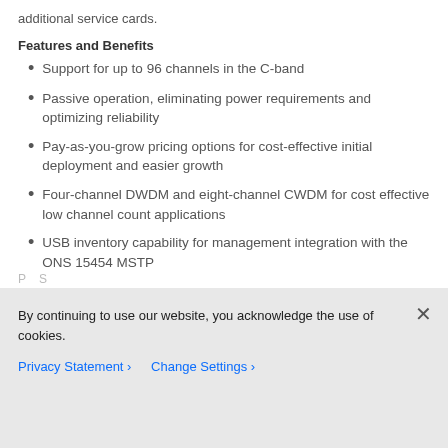additional service cards.
Features and Benefits
Support for up to 96 channels in the C-band
Passive operation, eliminating power requirements and optimizing reliability
Pay-as-you-grow pricing options for cost-effective initial deployment and easier growth
Four-channel DWDM and eight-channel CWDM for cost effective low channel count applications
USB inventory capability for management integration with the ONS 15454 MSTP
By continuing to use our website, you acknowledge the use of cookies.
Privacy Statement › Change Settings ›